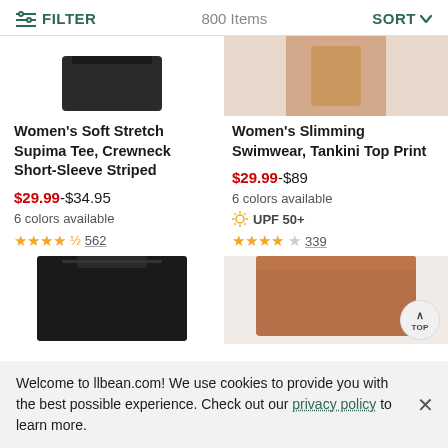FILTER  800 Items  SORT
[Figure (photo): Top portion of two product images: left shows dark clothing item cropped at top, right shows a person wearing swimwear cropped at top]
Women's Soft Stretch Supima Tee, Crewneck Short-Sleeve Striped
$29.99-$34.95  6 colors available  ★★★★½ 562
Women's Slimming Swimwear, Tankini Top Print
$29.99-$89  6 colors available  UPF 50+  ★★★★☆ 339
[Figure (photo): Bottom portions of two product images: left shows black skirt/shorts, right shows brown/rust-colored shorts]
Welcome to llbean.com! We use cookies to provide you with the best possible experience. Check out our privacy policy to learn more.